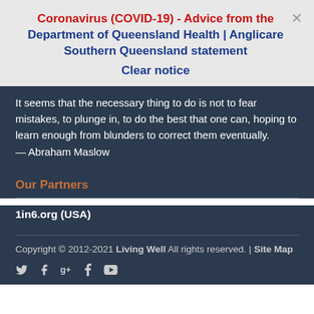Coronavirus (COVID-19) - Advice from the Department of Queensland Health | Anglicare Southern Queensland statement
Clear notice
It seems that the necessary thing to do is not to fear mistakes, to plunge in, to do the best that one can, hoping to learn enough from blunders to correct them eventually. — Abraham Maslow
Our Partners
1in6.org (USA)
Copyright © 2012-2021 Living Well All rights reserved. | Site Map